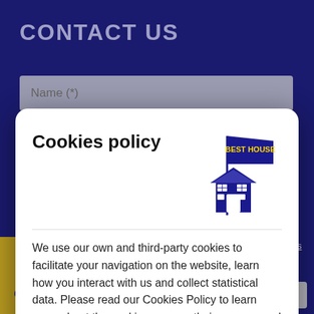CONTACT US
Name (*)
[Figure (screenshot): Cookies policy modal dialog with Best House logo, policy text, and two buttons: Manage Cookies and Accept all]
Cookies policy
[Figure (logo): Best House logo: flag with BEST HOUSE text above a house illustration]
We use our own and third-party cookies to facilitate your navigation on the website, learn how you interact with us and collect statistical data. Please read our Cookies Policy to learn more about the cookies we use, their purpose and how to configure or reject them, if you consider it so.
Manage Cookies
Accept all
understood and accepted the conditions of our y Policy shown in this LINK
QUESTION?
Send